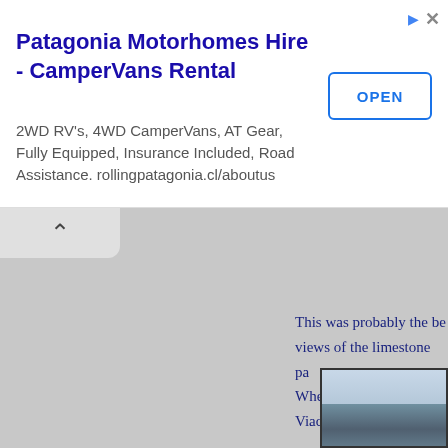[Figure (screenshot): Advertisement banner for Patagonia Motorhomes Hire - CamperVans Rental with an OPEN button and close/info icons]
Patagonia Motorhomes Hire - CamperVans Rental
2WD RV's, 4WD CamperVans, AT Gear, Fully Equipped, Insurance Included, Road Assistance. rollingpatagonia.cl/aboutus
This was probably the be... views of the limestone pa... Whernside beyond. We v... Viaduct located at the ba...
[Figure (photo): Partial landscape photo showing a hilly terrain with sky, visible in lower right corner of page]